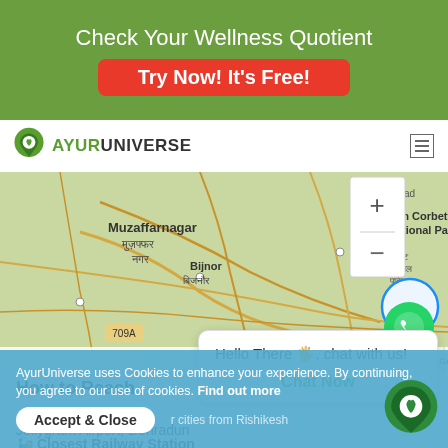Check Your Wellness Quotient
Try Now! It's Free!
AYURUNIVERSE
[Figure (map): Google Maps showing region including Muzaffarnagar, Bijnor, Jim Corbett National Park, Najibabad area with zoom controls]
How to Reach
✈ Closest Airport
Jollygrant Airport, Dehradun
🚂 Closest Railway Station
Hello There 🖐, chat with us!
Chat Now
AyurUniverse uses Cookies to enhance your experience. By continuing, you agree to our use of cookies. Find out more
Accept & Close
🚗 Traveling by Road
or cities from Rishikesh